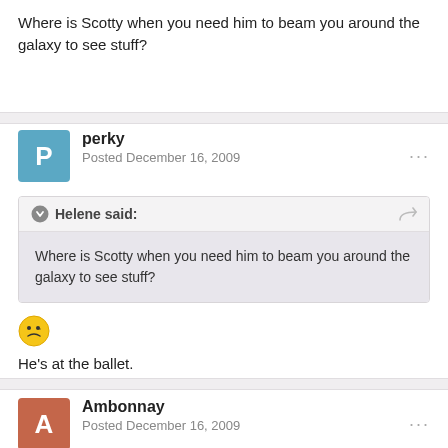Where is Scotty when you need him to beam you around the galaxy to see stuff?
perky
Posted December 16, 2009
Helene said:
Where is Scotty when you need him to beam you around the galaxy to see stuff?
[Figure (illustration): Yellow confused/thinking emoji face]
He's at the ballet.
Ambonnay
Posted December 16, 2009